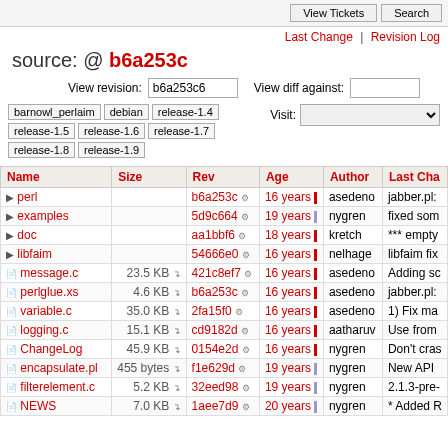View Tickets | Search
Last Change | Revision Log
source: @ b6a253c
View revision: b6a253c6   View diff against:
barnowl_perlaim  debian  release-1.4  release-1.5  release-1.6  release-1.7  release-1.8  release-1.9  Visit:
| Name | Size | Rev | Age | Author | Last Cha |
| --- | --- | --- | --- | --- | --- |
| perl |  | b6a253c | 16 years | asedeno | jabber.pl: |
| examples |  | 5d9c664 | 19 years | nygren | fixed som |
| doc |  | aa1bbf6 | 18 years | kretch | *** empty |
| libfaim |  | 54666e0 | 16 years | nelhage | libfaim fix |
| message.c | 23.5 KB | 421c8ef7 | 16 years | asedeno | Adding sc |
| perlglue.xs | 4.6 KB | b6a253c | 16 years | asedeno | jabber.pl: |
| variable.c | 35.0 KB | 2fa15f0 | 16 years | asedeno | 1) Fix ma |
| logging.c | 15.1 KB | cd9182d | 16 years | aatharuv | Use from |
| ChangeLog | 45.9 KB | 0154e2d | 16 years | nygren | Don't cras |
| encapsulate.pl | 455 bytes | f1e629d | 19 years | nygren | New API |
| filterelement.c | 5.2 KB | 32eed98 | 19 years | nygren | 2.1.3-pre- |
| NEWS | 7.0 KB | 1aee7d9 | 20 years | nygren | * Added R |